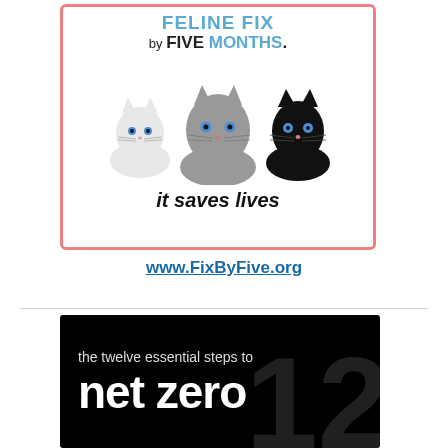[Figure (illustration): Feline Fix by Five Months advertisement with three cartoon cats (white, gray, black) inside a pink-bordered box with text 'it saves lives']
www.FixByFive.org
[Figure (illustration): Black background panel with white text reading 'the twelve essential steps to net zero' with large faded number in background]